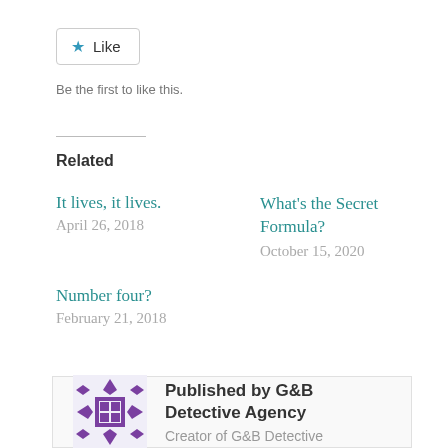[Figure (other): Like button with blue star icon]
Be the first to like this.
Related
It lives, it lives.
April 26, 2018
What's the Secret Formula?
October 15, 2020
Number four?
February 21, 2018
Published by G&B Detective Agency
Creator of G&B Detective